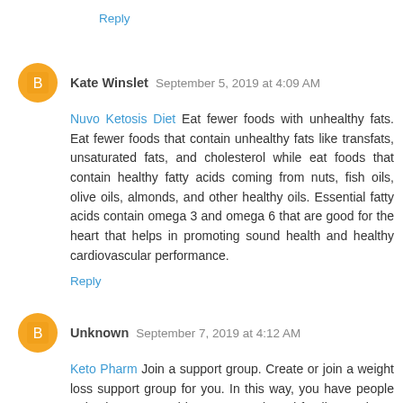Reply
Kate Winslet  September 5, 2019 at 4:09 AM
Nuvo Ketosis Diet Eat fewer foods with unhealthy fats. Eat fewer foods that contain unhealthy fats like transfats, unsaturated fats, and cholesterol while eat foods that contain healthy fatty acids coming from nuts, fish oils, olive oils, almonds, and other healthy oils. Essential fatty acids contain omega 3 and omega 6 that are good for the heart that helps in promoting sound health and healthy cardiovascular performance.
Reply
Unknown  September 7, 2019 at 4:12 AM
Keto Pharm Join a support group. Create or join a weight loss support group for you. In this way, you have people to back you up and keep you motivated family members, office mates, and other pivotal people in your life. In this way, they give you support and you can carry it...